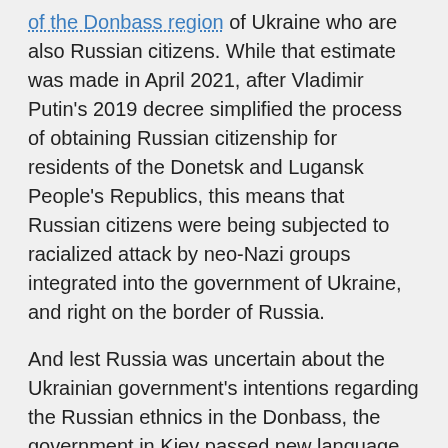of the Donbass region of Ukraine who are also Russian citizens. While that estimate was made in April 2021, after Vladimir Putin's 2019 decree simplified the process of obtaining Russian citizenship for residents of the Donetsk and Lugansk People's Republics, this means that Russian citizens were being subjected to racialized attack by neo-Nazi groups integrated into the government of Ukraine, and right on the border of Russia.
And lest Russia was uncertain about the Ukrainian government's intentions regarding the Russian ethnics in the Donbass, the government in Kiev passed new language laws in 2019 which made it clear that Russian speakers were at best second-class citizens. Indeed, the usually pro-West Human Rights Watch (HRW) expressed alarm about these laws.